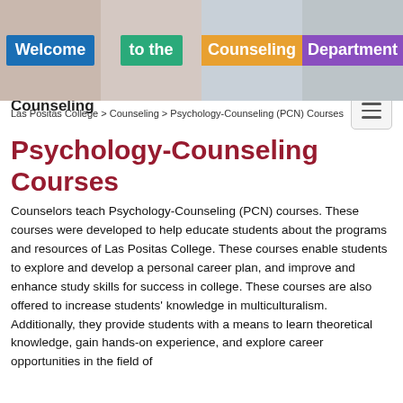[Figure (photo): Four panel hero image showing students holding colored signs reading 'Welcome', 'to the', 'Counseling', 'Department']
Las Positas College > Counseling > Psychology-Counseling (PCN) Courses
Counseling
Psychology-Counseling Courses
Counselors teach Psychology-Counseling (PCN) courses. These courses were developed to help educate students about the programs and resources of Las Positas College. These courses enable students to explore and develop a personal career plan, and improve and enhance study skills for success in college. These courses are also offered to increase students' knowledge in multiculturalism. Additionally, they provide students with a means to learn theoretical knowledge, gain hands-on experience, and explore career opportunities in the field of